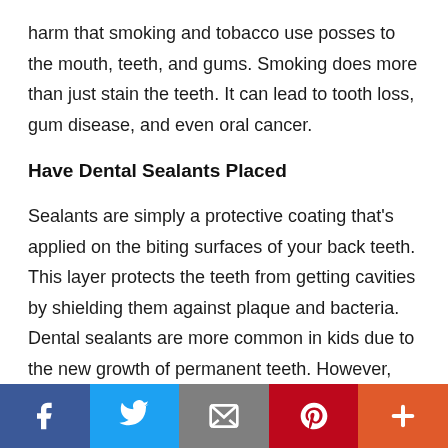harm that smoking and tobacco use posses to the mouth, teeth, and gums. Smoking does more than just stain the teeth. It can lead to tooth loss, gum disease, and even oral cancer.
Have Dental Sealants Placed
Sealants are simply a protective coating that's applied on the biting surfaces of your back teeth. This layer protects the teeth from getting cavities by shielding them against plaque and bacteria. Dental sealants are more common in kids due to the new growth of permanent teeth. However, they can ideally benefit adults.
Social share bar: Facebook, Twitter, Email, Pinterest, Plus